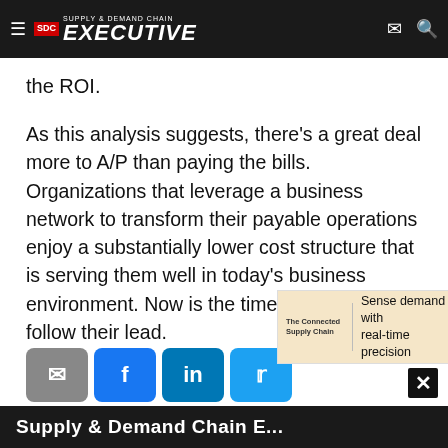Supply & Demand Chain Executive
the ROI.
As this analysis suggests, there's a great deal more to A/P than paying the bills. Organizations that leverage a business network to transform their payable operations enjoy a substantially lower cost structure that is serving them well in today's business environment. Now is the time for others to follow their lead.
[Figure (other): Social share buttons: email (grey), Facebook (blue), LinkedIn (blue), Twitter (blue)]
[Figure (other): Advertisement banner: The Connected Supply Chain | Sense demand with real-time precision | e2open Learn more]
Supply & Demand Chain Executive (partial text visible at bottom)